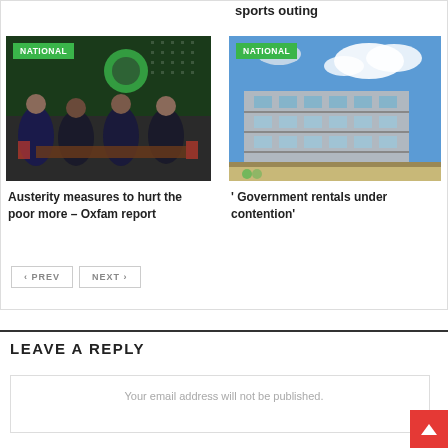sports outing
[Figure (photo): Panel of men seated at a table at a conference event with green backdrop showing NGA logo]
NATIONAL
Austerity measures to hurt the poor more – Oxfam report
[Figure (photo): Modern multi-storey building exterior under blue sky with clouds]
NATIONAL
' Government rentals under contention'
< PREV
NEXT >
LEAVE A REPLY
Your email address will not be published.